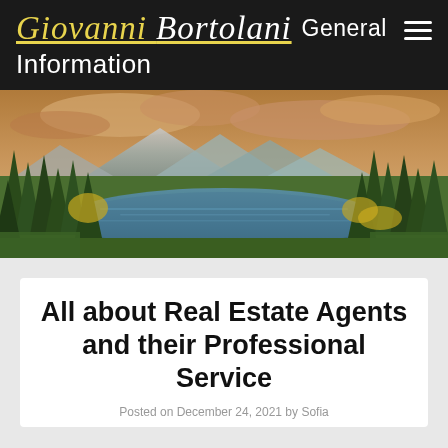Giovanni Bortolani General Information
[Figure (photo): Scenic mountain lake landscape with pine trees, blue water reflecting clouds, mountains in background with dramatic sky]
All about Real Estate Agents and their Professional Service
Posted on December 24, 2021 by Sofia